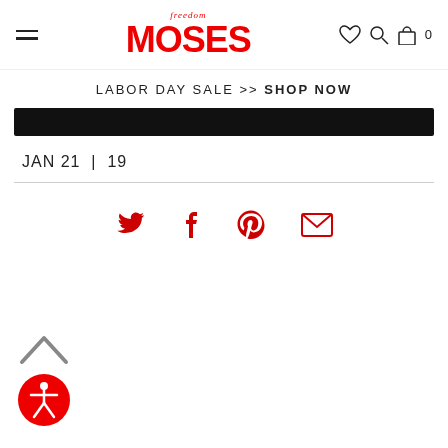[Figure (screenshot): Freedom Moses retail website header with hamburger menu, red MOSES logo with 'freedom' script above, heart icon, search icon, bag icon with 0 count]
LABOR DAY SALE >> SHOP NOW
[Figure (other): Black banner bar]
JAN 21 | 19
[Figure (other): Social share icons: Twitter bird, Facebook f, Pinterest p, email envelope - all in red]
[Figure (other): Back to top chevron arrow and red accessibility icon with person figure]